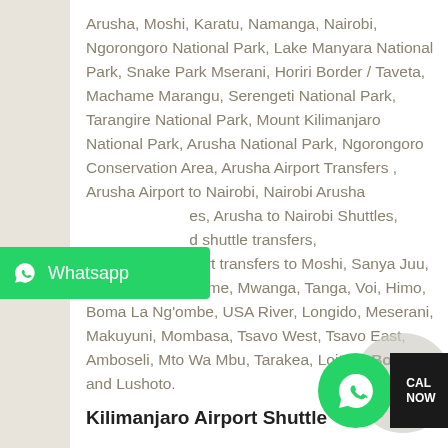Arusha, Moshi, Karatu, Namanga, Nairobi, Ngorongoro National Park, Lake Manyara National Park, Snake Park Mserani, Horiri Border / Taveta, Machame Marangu, Serengeti National Park, Tarangire National Park, Mount Kilimanjaro National Park, Arusha National Park, Ngorongoro Conservation Area, Arusha Airport Transfers, Arusha Airport to Nairobi, Nairobi Arusha [Transfers], Arusha to Nairobi Shuttles, [Arusha and] shuttle transfers, Kilimanjaro airport transfers to Moshi, Sanya Juu, Dar es Salam, Same, Mwanga, Tanga, Voi, Himo, Boma La Ng'ombe, USA River, Longido, Meserani, Makuyuni, Mombasa, Tsavo West, Tsavo East, Amboseli, Mto Wa Mbu, Tarakea, Loitokitok Border and Lushoto.
[Figure (other): WhatsApp button widget - green button with WhatsApp logo and text 'Whatsapp']
[Figure (other): Call Now widget - circular green WhatsApp icon next to black bar with 'CALL NOW' text]
Kilimanjaro Airport Shuttle